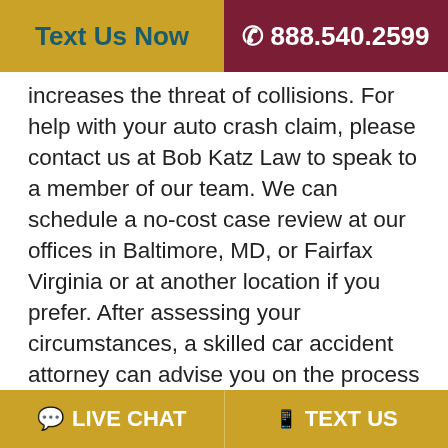Text Us Now   ☎ 888.540.2599
increases the threat of collisions. For help with your auto crash claim, please contact us at Bob Katz Law to speak to a member of our team. We can schedule a no-cost case review at our offices in Baltimore, MD, or Fairfax Virginia or at another location if you prefer. After assessing your circumstances, a skilled car accident attorney can advise you on the process and make recommendations specific to your unique problem.
[Figure (photo): Partial image of a dark scene with text 'GET A FREE' partially visible at the bottom]
💬 LIVE CHAT   □ TEXT US